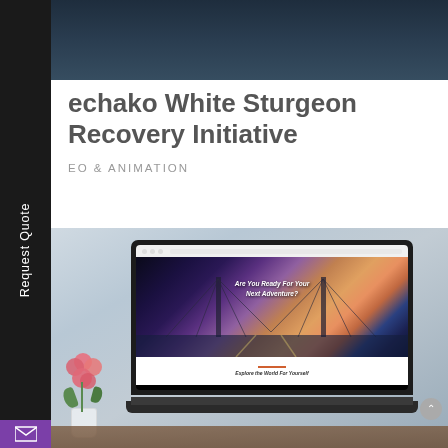[Figure (screenshot): Dark blue/grey gradient banner image at the top of the page, partially obscured by sidebar]
Nechako White Sturgeon Recovery Initiative
VIDEO & ANIMATION
[Figure (photo): Laptop on a desk with flowers, displaying a travel website with bridge at sunset and text 'Are You Ready For Your Next Adventure?' and 'Explore the World For Yourself']